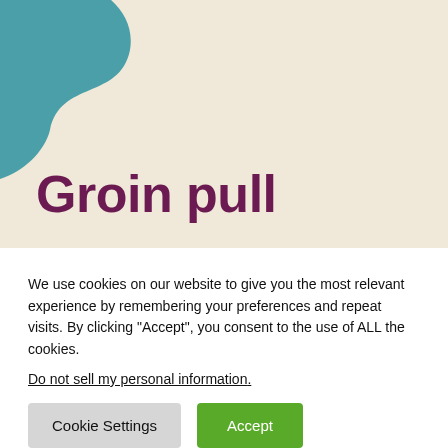[Figure (illustration): Decorative banner with beige/cream background and teal organic blob shape in the upper-left corner, containing the title 'Groin pull' in large bold dark purple text.]
Groin pull
We use cookies on our website to give you the most relevant experience by remembering your preferences and repeat visits. By clicking “Accept”, you consent to the use of ALL the cookies.
Do not sell my personal information.
Cookie Settings  Accept